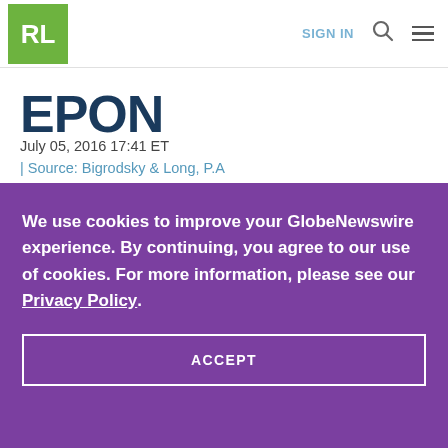RL | SIGN IN
EPON
July 05, 2016 17:41 ET
| Source: Bigrodsky & Long, P.A
We use cookies to improve your GlobeNewswire experience. By continuing, you agree to our use of cookies. For more information, please see our Privacy Policy.
ACCEPT